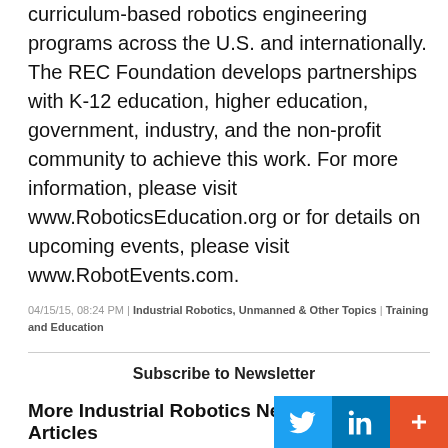curriculum-based robotics engineering programs across the U.S. and internationally. The REC Foundation develops partnerships with K-12 education, higher education, government, industry, and the non-profit community to achieve this work. For more information, please visit www.RoboticsEducation.org or for details on upcoming events, please visit www.RobotEvents.com.
04/15/15, 08:24 PM | Industrial Robotics, Unmanned & Other Topics | Training and Education
Subscribe to Newsletter
More Industrial Robotics News | Stories | Articles